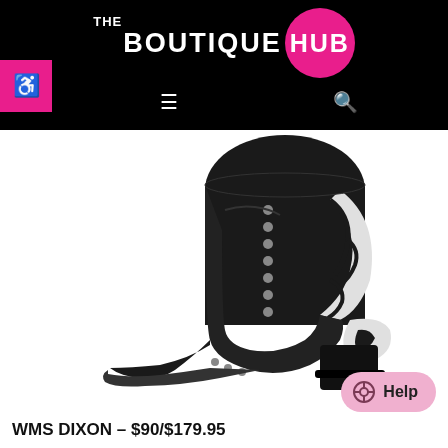THE BOUTIQUE HUB
[Figure (photo): Black leather Western cowboy ankle boot (WMS Dixon) with decorative studded embellishments and intricate floral cutwork design on heel and upper, pointed toe, photographed on white background.]
WMS DIXON – $90/$179.95